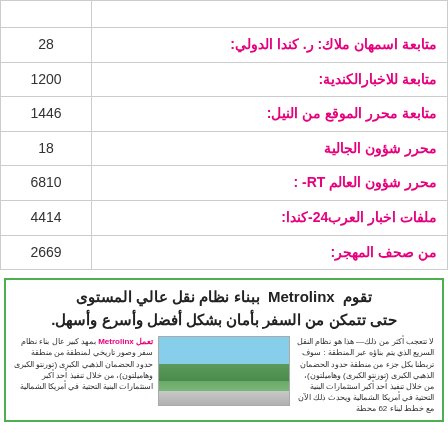| الموضوع | العدد |
| --- | --- |
|  |  |
| متابعة اسمهان ملاك: ر. كندا الدولي: | 28 |
| متابعة للاخبارالكندية: | 1200 |
| متابعة محرر الموقع من النيل: | 1446 |
| محرر شؤون الجالية | 18 |
| محرر شؤون العالم RT- : | 6810 |
| ملفات اخبار العرب24-كندا: | 4414 |
| من صحف المهجر: | 2669 |
[Figure (infographic): Metrolinx advertisement in Arabic with headline, body text in two columns, and a scenic photo of mountains/rail in the center]
تقوم Metrolinx ببناء نظام نقل عالي المستوى حتى تتمكن من السفر بأمان بشكل أفضل وأسرع وأسهل.